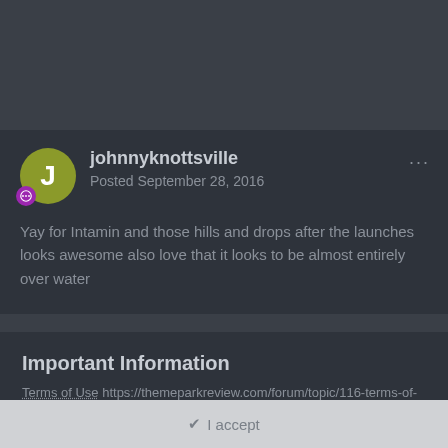johnnyknottsville
Posted September 28, 2016
Yay for Intamin and those hills and drops after the launches looks awesome also love that it looks to be almost entirely over water
Important Information
Terms of Use https://themeparkreview.com/forum/topic/116-terms-of-service-please-read/
I accept